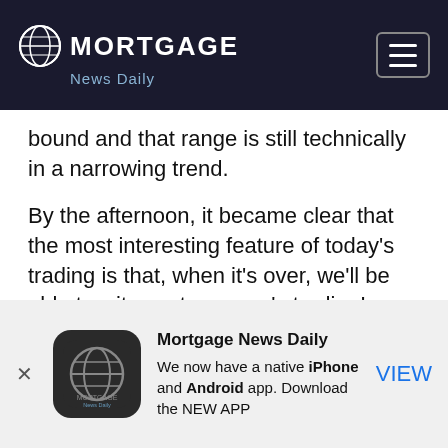Mortgage News Daily
bound and that range is still technically in a narrowing trend.
By the afternoon, it became clear that the most interesting feature of today's trading is that, when it's over, we'll be able to witness tomorrow's trading! Tomorrow brings the week's most significant economic data in the form of Retail Sales and the Philly Fed survey.  These aren't necessarily guaranteed to move markets, but they have a much better shot than this morning's relatively inconsequential data (or
[Figure (logo): Mortgage News Daily app advertisement banner with globe logo icon, text 'We now have a native iPhone and Android app. Download the NEW APP', and VIEW button]
Mortgage News Daily
We now have a native iPhone and Android app.
Download the NEW APP